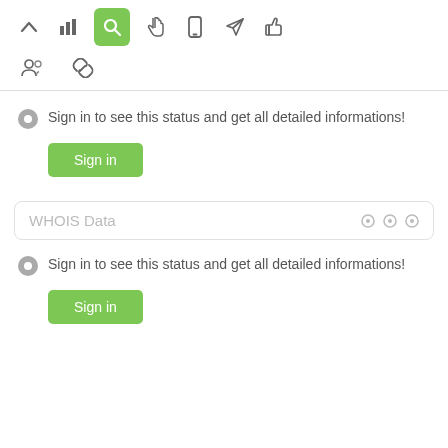[Figure (screenshot): Toolbar with navigation icons: up arrow, bar chart, search (active/green), pointer, mobile, send, thumbs up]
[Figure (screenshot): Secondary toolbar row with people/group icon and link/chain icon]
Sign in to see this status and get all detailed informations!
[Figure (screenshot): Green Sign in button]
WHOIS Data
Sign in to see this status and get all detailed informations!
[Figure (screenshot): Green Sign in button]